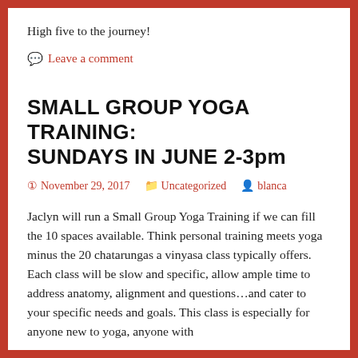High five to the journey!
Leave a comment
SMALL GROUP YOGA TRAINING: SUNDAYS IN JUNE 2-3pm
November 29, 2017   Uncategorized   blanca
Jaclyn will run a Small Group Yoga Training if we can fill the 10 spaces available. Think personal training meets yoga minus the 20 chatarungas a vinyasa class typically offers. Each class will be slow and specific, allow ample time to address anatomy, alignment and questions...and cater to your specific needs and goals. This class is especially for anyone new to yoga, anyone with